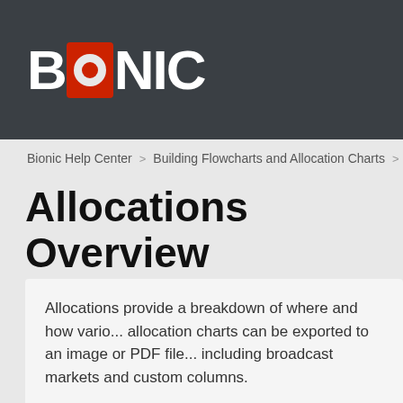[Figure (logo): BIONIC logo in white text on dark gray background, with the letter O inside a red square containing a circle]
Bionic Help Center > Building Flowcharts and Allocation Charts > Allocations
Allocations Overview
Allocations provide a breakdown of where and how vario... allocation charts can be exported to an image or PDF file... including broadcast markets and custom columns.